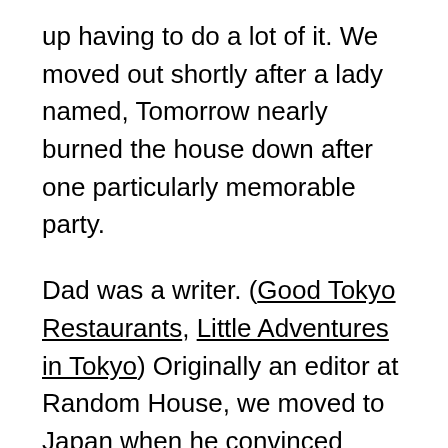up having to do a lot of it. We moved out shortly after a lady named, Tomorrow nearly burned the house down after one particularly memorable party.
Dad was a writer. (Good Tokyo Restaurants, Little Adventures in Tokyo) Originally an editor at Random House, we moved to Japan when he convinced Sony they needed someone to help make their user manuals less laughable. He took great care to chose the right words and was quick to criticize sloppy use of the English language. To him, bad writing shows a carelessness that offends him.
We have an on-going debate about the craft of